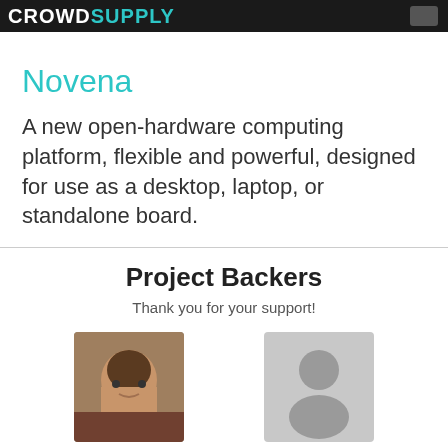CROWDSUPPLY
Novena
A new open-hardware computing platform, flexible and powerful, designed for use as a desktop, laptop, or standalone board.
Project Backers
Thank you for your support!
[Figure (photo): Avatar photo of backer named pop I]
pop I
[Figure (illustration): Default placeholder avatar silhouette for backer Michael B]
Michael B